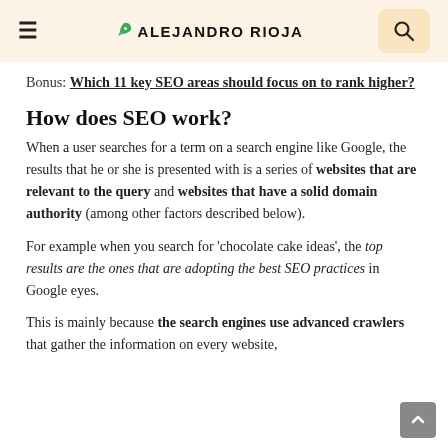≡  ALEJANDRO RIOJA  🔍
Bonus: Which 11 key SEO areas should focus on to rank higher?
How does SEO work?
When a user searches for a term on a search engine like Google, the results that he or she is presented with is a series of websites that are relevant to the query and websites that have a solid domain authority (among other factors described below).
For example when you search for 'chocolate cake ideas', the top results are the ones that are adopting the best SEO practices in Google eyes.
This is mainly because the search engines use advanced crawlers that gather the information on every website,